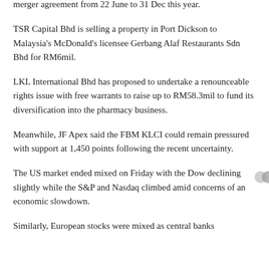merger agreement from 22 June to 31 Dec this year.
TSR Capital Bhd is selling a property in Port Dickson to Malaysia's McDonald's licensee Gerbang Alaf Restaurants Sdn Bhd for RM6mil.
LKL International Bhd has proposed to undertake a renounceable rights issue with free warrants to raise up to RM58.3mil to fund its diversification into the pharmacy business.
Meanwhile, JF Apex said the FBM KLCI could remain pressured with support at 1,450 points following the recent uncertainty.
The US market ended mixed on Friday with the Dow declining slightly while the S&P and Nasdaq climbed amid concerns of an economic slowdown.
Similarly, European stocks were mixed as central banks